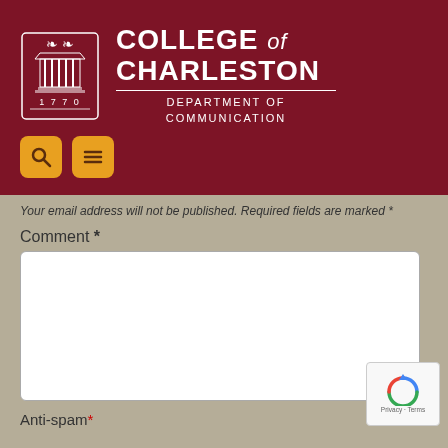[Figure (logo): College of Charleston Department of Communication header logo with university seal (1770) on dark red background, with search and menu navigation buttons]
Your email address will not be published. Required fields are marked *
Comment *
[Figure (screenshot): Empty comment text area input box]
[Figure (logo): reCAPTCHA badge with Privacy and Terms links]
Anti-spam*